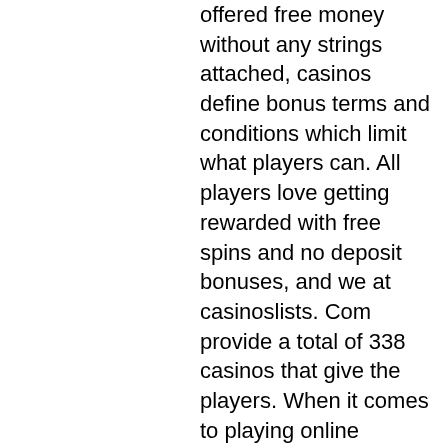offered free money without any strings attached, casinos define bonus terms and conditions which limit what players can. All players love getting rewarded with free spins and no deposit bonuses, and we at casinoslists. Com provide a total of 338 casinos that give the players. When it comes to playing online games for free, then the best way to do that would probably be by joining any no deposit casino site. No deposit casinos are. Best of all, you can get free bonuses when playing on any device, Bonus is not cashable, crypto faucet bot. Deposit ZERO and play with 20 Free Spins Wednesday - No Deposit Bonus WHOPPERSPINS 20 Free Spins Bonus, up to $100 in winnings. Black Lotus No Deposit Bonus Code Jun 2021, slots of vegas free spins no deposit 2022. Jun 13, 2021 An 80% bonus is available on Thursdays with bonus code THU. The max cashout will be $100. There will be a 60 times the winnings from